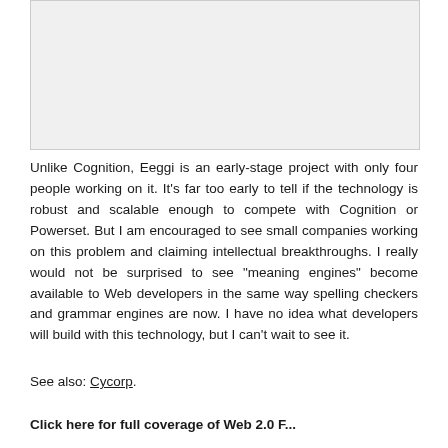[Figure (other): Image placeholder area at top of page]
Unlike Cognition, Eeggi is an early-stage project with only four people working on it. It's far too early to tell if the technology is robust and scalable enough to compete with Cognition or Powerset. But I am encouraged to see small companies working on this problem and claiming intellectual breakthroughs. I really would not be surprised to see "meaning engines" become available to Web developers in the same way spelling checkers and grammar engines are now. I have no idea what developers will build with this technology, but I can't wait to see it.
See also: Cycorp.
Click here for full coverage of Web 2.0 F...